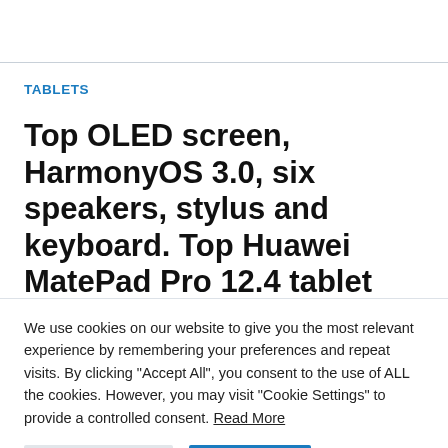TABLETS
Top OLED screen, HarmonyOS 3.0, six speakers, stylus and keyboard. Top Huawei MatePad Pro 12.4 tablet coming in September
We use cookies on our website to give you the most relevant experience by remembering your preferences and repeat visits. By clicking "Accept All", you consent to the use of ALL the cookies. However, you may visit "Cookie Settings" to provide a controlled consent. Read More